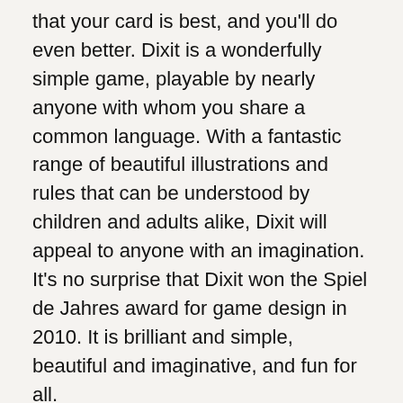that your card is best, and you'll do even better. Dixit is a wonderfully simple game, playable by nearly anyone with whom you share a common language. With a fantastic range of beautiful illustrations and rules that can be understood by children and adults alike, Dixit will appeal to anyone with an imagination. It's no surprise that Dixit won the Spiel de Jahres award for game design in 2010. It is brilliant and simple, beautiful and imaginative, and fun for all.
3-6 Players
Ages 8+
30 Minutes